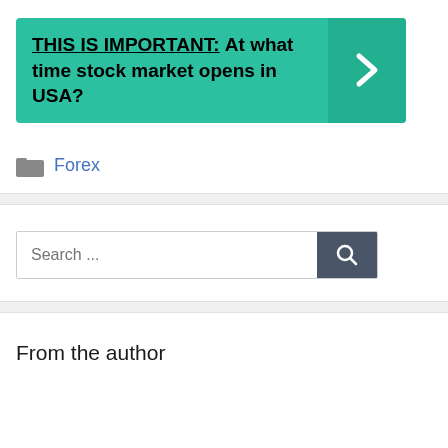[Figure (infographic): Teal banner with bold text reading 'THIS IS IMPORTANT: At what time stock market opens in USA?' with a right-arrow chevron button on the right side]
Forex
[Figure (other): Search bar with placeholder text 'Search ...' and a dark search button with magnifying glass icon]
From the author